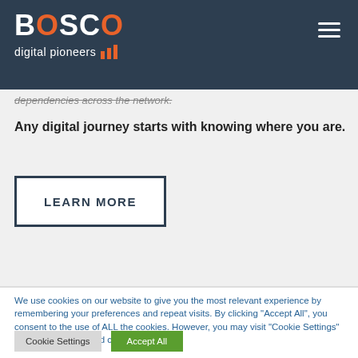BOSCO digital pioneers
dependencies across the network.
Any digital journey starts with knowing where you are.
LEARN MORE
We use cookies on our website to give you the most relevant experience by remembering your preferences and repeat visits. By clicking "Accept All", you consent to the use of ALL the cookies. However, you may visit "Cookie Settings" to provide a controlled consent.
Cookie Settings
Accept All